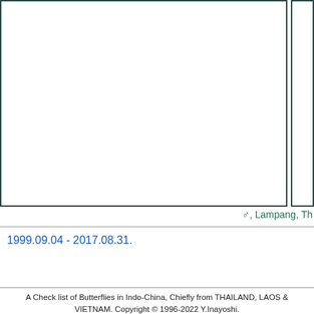[Figure (photo): Two-panel image area: a large white/empty main panel on the left and a narrow side panel on the right, both outlined with dark teal borders. Appears to be a butterfly specimen display page with image content cut off.]
♂, Lampang, Th
1999.09.04 - 2017.08.31.
A Check list of Butterflies in Indo-China, Chiefly from THAILAND, LAOS & VIETNAM. Copyright © 1996-2022 Y.Inayoshi.